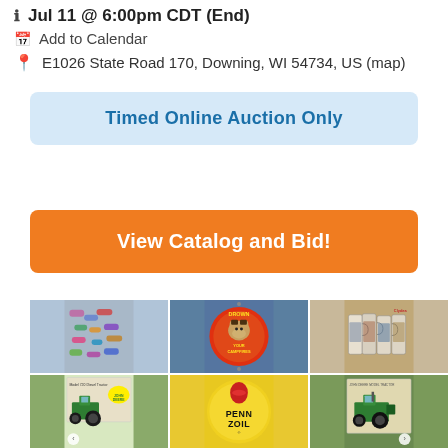Jul 11 @ 6:00pm CDT (End)
Add to Calendar
E1026 State Road 170, Downing, WI 54734, US (map)
Timed Online Auction Only
View Catalog and Bid!
[Figure (photo): Grid of 6 auction item photos: decorative shoes/miniatures, a round Smokey Bear campfire sign, ceramic beer steins/mugs, John Deere Model 720 Diesel Tractor box, Pennzoil oval sign, John Deere tractor model in box]